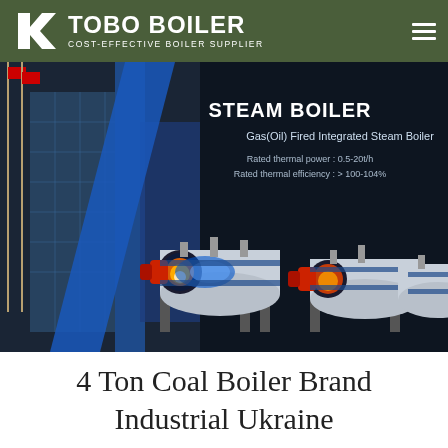TOBO BOILER — COST-EFFECTIVE BOILER SUPPLIER
[Figure (illustration): Steam boiler product banner showing industrial boilers on dark background. Text overlay: STEAM BOILER, Gas(Oil) Fired Integrated Steam Boiler, Rated thermal power: 0.5-20t/h, Rated thermal efficiency: > 100-104%]
4 Ton Coal Boiler Brand Industrial Ukraine